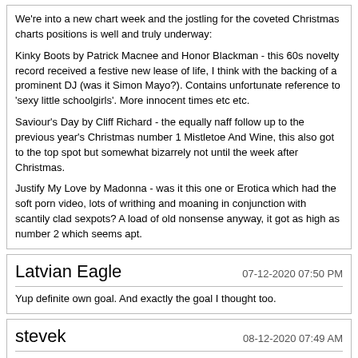We're into a new chart week and the jostling for the coveted Christmas charts positions is well and truly underway:

Kinky Boots by Patrick Macnee and Honor Blackman - this 60s novelty record received a festive new lease of life, I think with the backing of a prominent DJ (was it Simon Mayo?). Contains unfortunate reference to 'sexy little schoolgirls'. More innocent times etc etc.

Saviour's Day by Cliff Richard - the equally naff follow up to the previous year's Christmas number 1 Mistletoe And Wine, this also got to the top spot but somewhat bizarrely not until the week after Christmas.

Justify My Love by Madonna - was it this one or Erotica which had the soft porn video, lots of writhing and moaning in conjunction with scantily clad sexpots? A load of old nonsense anyway, it got as high as number 2 which seems apt.
Latvian Eagle
07-12-2020 07:50 PM
Yup definite own goal. And exactly the goal I thought too.
stevek
08-12-2020 07:49 AM
In those days, there was no definitive ruling on who the goal was credited to - when did the dubious goals panel start?